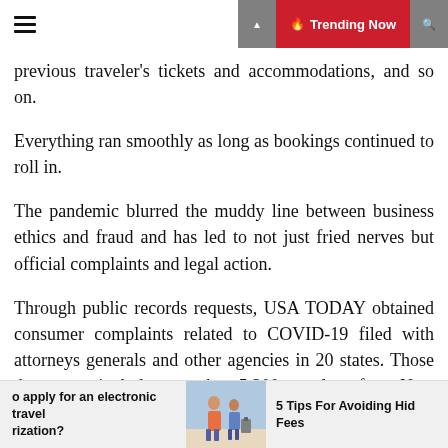≡  🔥 Trending Now
previous traveler's tickets and accommodations, and so on.
Everything ran smoothly as long as bookings continued to roll in.
The pandemic blurred the muddy line between business ethics and fraud and has led to not just fried nerves but official complaints and legal action.
Through public records requests, USA TODAY obtained consumer complaints related to COVID-19 filed with attorneys generals and other agencies in 20 states. Those documents include more than 5,300 travelers, from New Jersey to Texas and Washington state, who struggled to secure refunds for trips interrupted by the coronavirus – among the most common complaints lodged.
o apply for an electronic travel rization?
[Figure (photo): Photo of travelers at an airport]
5 Tips For Avoiding Hid Fees